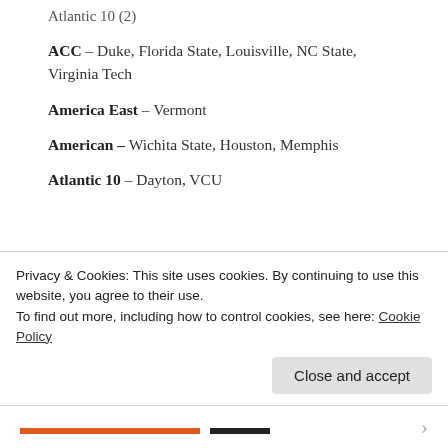Atlantic 10 (2)
ACC – Duke, Florida State, Louisville, NC State, Virginia Tech
America East – Vermont
American – Wichita State, Houston, Memphis
Atlantic 10 – Dayton, VCU
Privacy & Cookies: This site uses cookies. By continuing to use this website, you agree to their use.
To find out more, including how to control cookies, see here: Cookie Policy
Close and accept